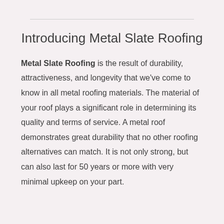Introducing Metal Slate Roofing
Metal Slate Roofing is the result of durability, attractiveness, and longevity that we've come to know in all metal roofing materials. The material of your roof plays a significant role in determining its quality and terms of service. A metal roof demonstrates great durability that no other roofing alternatives can match. It is not only strong, but can also last for 50 years or more with very minimal upkeep on your part.